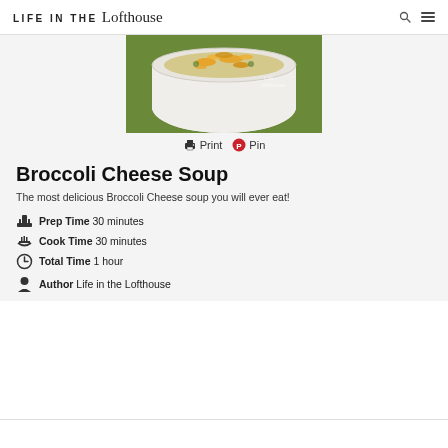LIFE IN THE Lofthouse
[Figure (photo): A white ceramic bowl filled with broccoli cheese soup topped with shredded orange cheese, placed on a green cloth napkin. Watermark reads 'Life in the Lofthouse'.]
🖨 Print  📌 Pin
Broccoli Cheese Soup
The most delicious Broccoli Cheese soup you will ever eat!
Prep Time  30 minutes
Cook Time  30 minutes
Total Time  1 hour
Author  Life in the Lofthouse